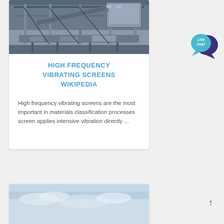[Figure (photo): Industrial machinery with metal frames and conveyor structures inside a facility]
HIGH FREQUENCY VIBRATING SCREENS WIKIPEDIA
High frequency vibrating screens are the most important in materials classification processes screen applies intensive vibration directly ...
[Figure (photo): Partial view of a second card showing a sky/outdoor image at the bottom of the page]